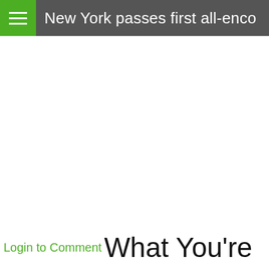New York passes first all-enco
Login to Comment What You're